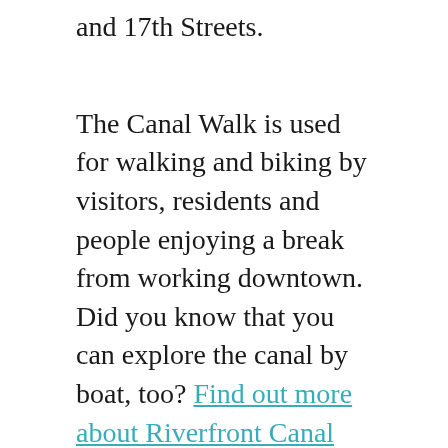and 17th Streets.
The Canal Walk is used for walking and biking by visitors, residents and people enjoying a break from working downtown. Did you know that you can explore the canal by boat, too? Find out more about Riverfront Canal Cruises.
There is so much to learn about Richmond’s history along the Canal Walk. On your walk you’ll see public art, statues and exhibits. Learn all about the Riverfront Art here.
Visit exceptional restaurants along the Canal Walk, like Southern Railway Taphouse, Casa del Barco and Bottom's Up Pizza.